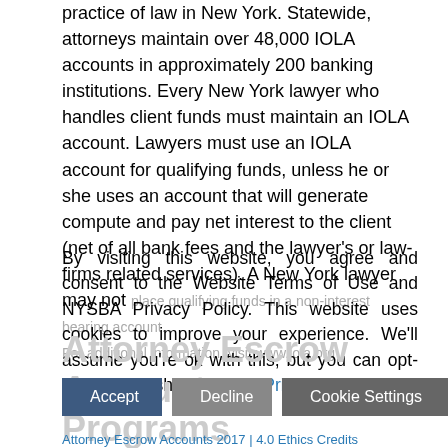practice of law in New York. Statewide, attorneys maintain over 48,000 IOLA accounts in approximately 200 banking institutions. Every New York lawyer who handles client funds must maintain an IOLA account. Lawyers must use an IOLA account for qualifying funds, unless he or she uses an account that will generate compute and pay net interest to the client (net of all bank fees and the lawyer's or law-firms related services). A New York lawyer may not place qualifying funds in a non-interest bearing account. For additional information, visit www.iola.org.
By visiting this website, you agree and consent to the Website Terms of Use and NYSBA Privacy Policy. This website uses cookies to improve your experience. We'll assume you're ok with this, but you can opt-out if you wish. Read Our Privacy Policy
Attorney Escrow Accounts
Programs
Accept | Decline | Cookie Settings
Attorney Escrow Accounts 2017 | 4.0 Ethics Credits